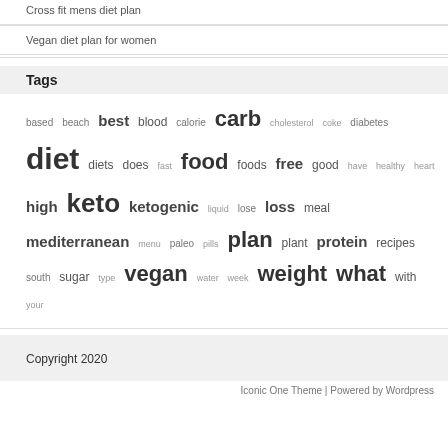Cross fit mens diet plan
Vegan diet plan for women
Tags
based beach best blood calorie carb cholesterol coke diabetes diet diets does fast food foods free good have healthy heart high keto ketogenic liquid lose loss meal mediterranean menu paleo pills plan plant protein recipes south sugar type vegan water week weight what with your
Copyright 2020
Iconic One Theme | Powered by Wordpress